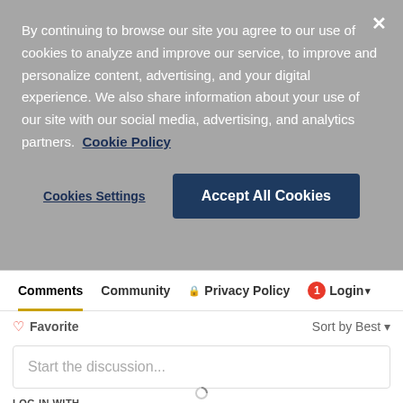By continuing to browse our site you agree to our use of cookies to analyze and improve our service, to improve and personalize content, advertising, and your digital experience. We also share information about your use of our site with our social media, advertising, and analytics partners. Cookie Policy
Cookies Settings
Accept All Cookies
Comments  Community  Privacy Policy  1  Login
Favorite
Sort by Best
Start the discussion...
LOG IN WITH
[Figure (infographic): Four social login icons: Disqus (blue), Facebook (dark blue), Twitter (light blue), Google (red)]